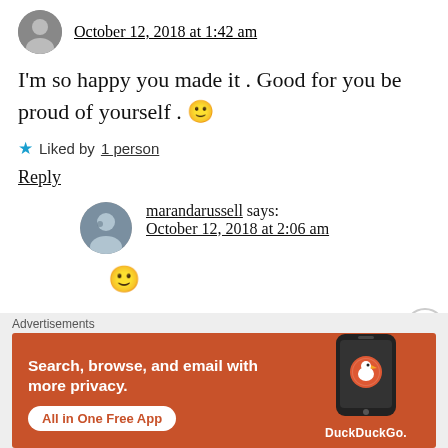October 12, 2018 at 1:42 am
I'm so happy you made it . Good for you be proud of yourself . 🙂
★ Liked by 1 person
Reply
marandarussell says: October 12, 2018 at 2:06 am
🙂
[Figure (infographic): DuckDuckGo advertisement banner with orange background. Text: 'Search, browse, and email with more privacy. All in One Free App'. Shows a smartphone with DuckDuckGo logo.]